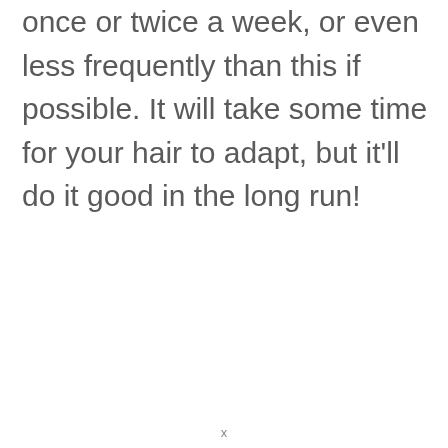once or twice a week, or even less frequently than this if possible. It will take some time for your hair to adapt, but it'll do it good in the long run!
x